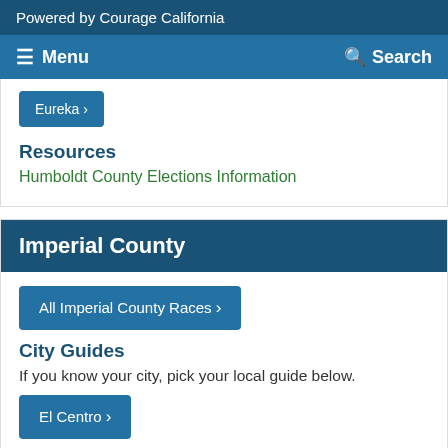Powered by Courage California
Menu   Search
Eureka >
Resources
Humboldt County Elections Information
Imperial County
All Imperial County Races >
City Guides
If you know your city, pick your local guide below.
El Centro >
Resources